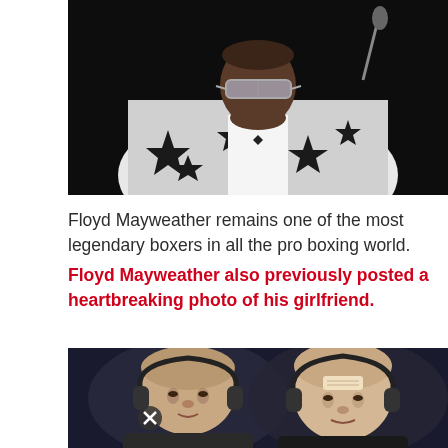[Figure (photo): A man wearing a white and black star-patterned blazer, leaning forward with silver-framed glasses, photographed against a dark background.]
Floyd Mayweather remains one of the most legendary boxers in all the pro boxing world. Floyd Mayweather also previously posted a heartbreaking photo of his girlfriend.
[Figure (photo): Two men wearing headsets/headphones, photographed from the shoulders up against a dark blue background. One man has a bandage on his head. A small X/close button icon is visible on the left side.]